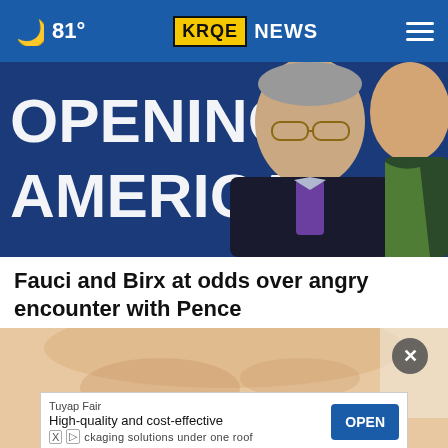81° KRQE NEWS
[Figure (photo): Man in suit with glasses standing in front of a blue sign reading 'OPENING AMERICA' at what appears to be a press briefing]
Fauci and Birx at odds over angry encounter with Pence
[Figure (photo): Close-up of a person's forehead and eyes]
Tuyap Fair
High-quality and cost-effective packaging solutions under one roof OPEN